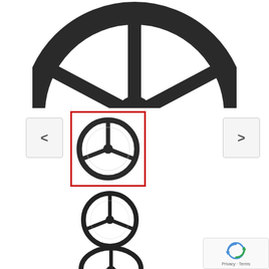[Figure (photo): Large steering wheel viewed from above, dark/black color, three spokes, shown cropped at the bottom]
[Figure (photo): Navigation left arrow button, gray outlined box with < symbol]
[Figure (photo): Steering wheel thumbnail selected with red border outline]
[Figure (photo): Navigation right arrow button, gray outlined box with > symbol]
[Figure (photo): Steering wheel thumbnail, no border, smaller]
[Figure (photo): Steering wheel thumbnail at bottom, slightly oval/perspective view]
[Figure (logo): Google reCAPTCHA badge with spinning arrows icon and Privacy - Terms text]